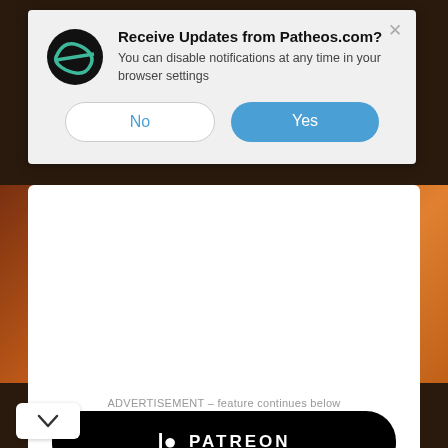[Figure (screenshot): Browser notification popup from Patheos.com asking 'Receive Updates from Patheos.com?' with No and Yes buttons, overlaid on a webpage showing a 'Support This Column' banner with Patreon button and an advertisement label]